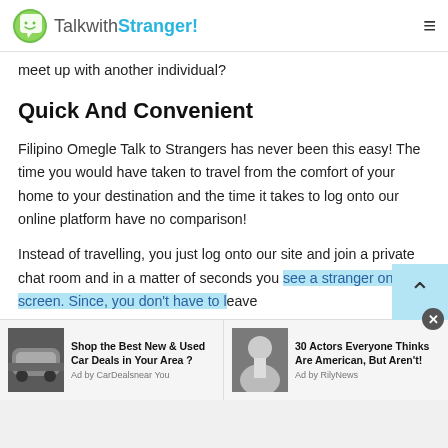TalkwithStranger!
meet up with another individual?
Quick And Convenient
Filipino Omegle Talk to Strangers has never been this easy! The time you would have taken to travel from the comfort of your home to your destination and the time it takes to log onto our online platform have no comparison!
Instead of travelling, you just log onto our site and join a private chat room and in a matter of seconds you see a stranger on your screen. Since, you don't have to leave